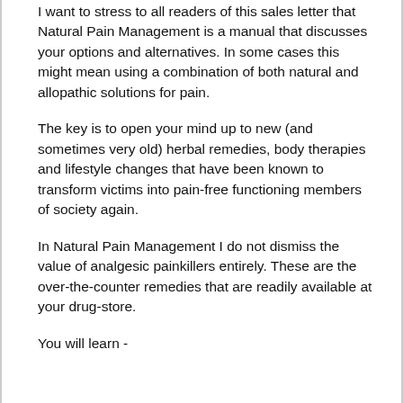I want to stress to all readers of this sales letter that Natural Pain Management is a manual that discusses your options and alternatives. In some cases this might mean using a combination of both natural and allopathic solutions for pain.
The key is to open your mind up to new (and sometimes very old) herbal remedies, body therapies and lifestyle changes that have been known to transform victims into pain-free functioning members of society again.
In Natural Pain Management I do not dismiss the value of analgesic painkillers entirely. These are the over-the-counter remedies that are readily available at your drug-store.
You will learn -